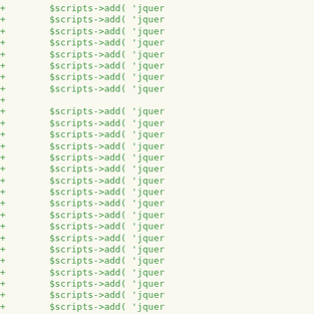[Figure (screenshot): A code diff view showing lines of PHP code, all prefixed with '+' (additions). Each line shows a call to $scripts->add( 'jquer... (truncated). Lines are in green monospace font on a light yellow background. Near the bottom there is a blank '+' line followed by a comment '// deprecated, not us...' and another $scripts->add( 'jquer... line.]